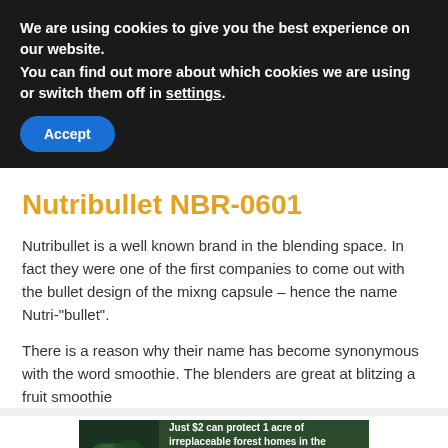We are using cookies to give you the best experience on our website.
You can find out more about which cookies we are using or switch them off in settings.
Accept
Nutribullet NBR-0601
Nutribullet is a well known brand in the blending space. In fact they were one of the first companies to come out with the bullet design of the mixng capsule – hence the name Nutri-"bullet".
There is a reason why their name has become synonymous with the word smoothie. The blenders are great at blitzing a fruit smoothie
[Figure (infographic): Advertisement banner with forest/Amazon theme. Text reads: Just $2 can protect 1 acre of irreplaceable forest homes in the Amazon. How many acres are you willing to protect? Button: PROTECT FORESTS NOW]